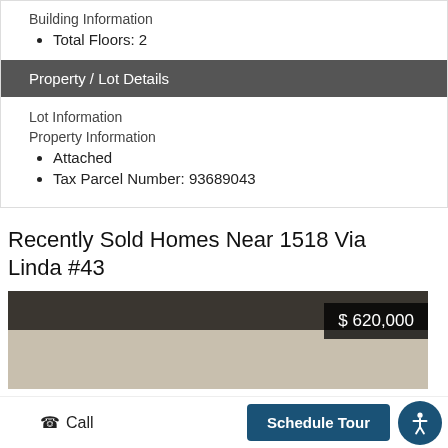Building Information
Total Floors: 2
Property / Lot Details
Lot Information
Property Information
Attached
Tax Parcel Number: 93689043
Recently Sold Homes Near 1518 Via Linda #43
[Figure (photo): Interior photo of a recently sold home showing a dark upper portion and light countertop/surface, with a price badge overlay showing $620,000]
Call | Schedule Tour